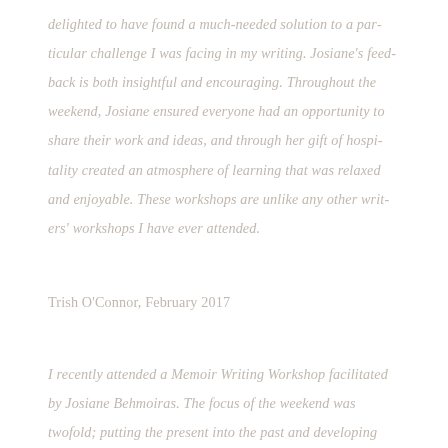delighted to have found a much-needed solution to a particular challenge I was facing in my writing. Josiane's feedback is both insightful and encouraging. Throughout the weekend, Josiane ensured everyone had an opportunity to share their work and ideas, and through her gift of hospitality created an atmosphere of learning that was relaxed and enjoyable. These workshops are unlike any other writers' workshops I have ever attended.
Trish O'Connor, February 2017
I recently attended a Memoir Writing Workshop facilitated by Josiane Behmoiras. The focus of the weekend was twofold; putting the present into the past and developing